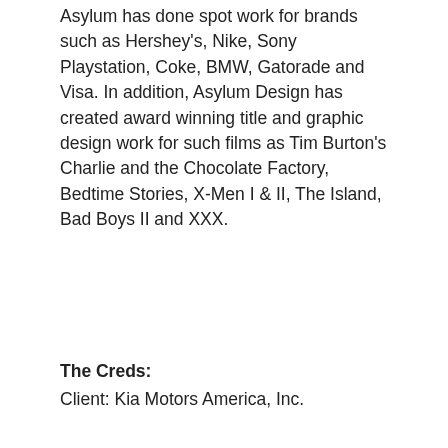Asylum has done spot work for brands such as Hershey's, Nike, Sony Playstation, Coke, BMW, Gatorade and Visa. In addition, Asylum Design has created award winning title and graphic design work for such films as Tim Burton's Charlie and the Chocolate Factory, Bedtime Stories, X-Men I & II, The Island, Bad Boys II and XXX.
The Creds:
Client: Kia Motors America, Inc.